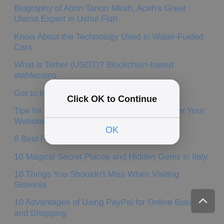Biography of Abon Tanon Mirah, Aceh's Great Ulama Expert in Ushul Fiqh
Know About the Technology Used in Water-Fueled Cars
What is Tether (USDT)? Blockchain-based stablecoins
Get to know more about ZCash
Tips for Choosing the Right Cloud Hosting for Your Website
6 Best Free CDN Choices for WordPress
10 Magical Secret Places and Hidden Gems in Italy
10 Things You Shouldn't Miss When Visiting Slovenia
10 Advantages of Using PayPal for Online Business and Shopping
[Figure (screenshot): A modal dialog box with bold text 'Click OK to Continue' and a blue 'OK' button, overlaid on the page content.]